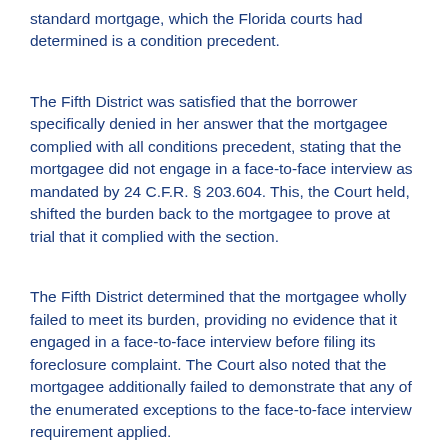standard mortgage, which the Florida courts had determined is a condition precedent.
The Fifth District was satisfied that the borrower specifically denied in her answer that the mortgagee complied with all conditions precedent, stating that the mortgagee did not engage in a face-to-face interview as mandated by 24 C.F.R. § 203.604.  This, the Court held, shifted the burden back to the mortgagee to prove at trial that it complied with the section.
The Fifth District determined that the mortgagee wholly failed to meet its burden, providing no evidence that it engaged in a face-to-face interview before filing its foreclosure complaint.  The Court also noted that the mortgagee additionally failed to demonstrate that any of the enumerated exceptions to the face-to-face interview requirement applied.